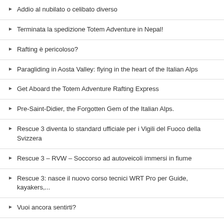Addio al nubilato o celibato diverso
Terminata la spedizione Totem Adventure in Nepal!
Rafting è pericoloso?
Paragliding in Aosta Valley: flying in the heart of the Italian Alps
Get Aboard the Totem Adventure Rafting Express
Pre-Saint-Didier, the Forgotten Gem of the Italian Alps.
Rescue 3 diventa lo standard ufficiale per i Vigili del Fuoco della Svizzera
Rescue 3 – RVW – Soccorso ad autoveicoli immersi in fiume
Rescue 3: nasce il nuovo corso tecnici WRT Pro per Guide, kayakers,...
Vuoi ancora sentirti?